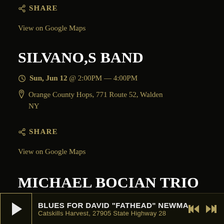SHARE
View on Google Maps
SILVANO,S BAND
Sun, Jun 12 @ 2:00PM — 4:00PM
Orange County Hops, 771 Route 52, Walden NY
SHARE
View on Google Maps
MICHAEL BOCIAN TRIO
Sat, Jun 11 @ 6:30PM — 9:30PM (EDT, UTC-
BLUES FOR DAVID "FATHEAD" NEWMA
Catskills Harvest, 27905 State Highway 28